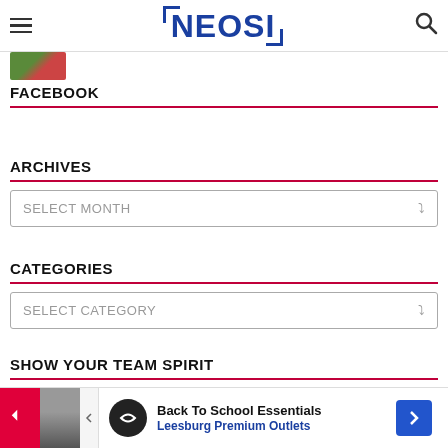NEOSI
FACEBOOK
ARCHIVES
SELECT MONTH
CATEGORIES
SELECT CATEGORY
SHOW YOUR TEAM SPIRIT
[Figure (photo): Partial sports photo showing football player(s) with orange/brown Cleveland Browns colors]
[Figure (infographic): Advertisement banner: Back To School Essentials - Leesburg Premium Outlets, with logo and navigation arrows]